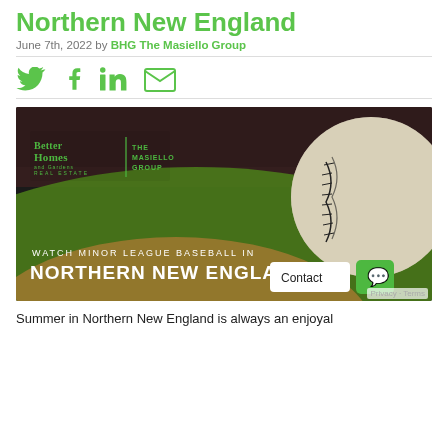Northern New England
June 7th, 2022 by BHG The Masiello Group
[Figure (other): Social sharing icons: Twitter (bird), Facebook (f), LinkedIn (in), Email (envelope) in green]
[Figure (photo): Promotional image: baseball on a field with text 'WATCH MINOR LEAGUE BASEBALL IN NORTHERN NEW ENGLAND' and the Better Homes and Gardens / The Masiello Group logo. Contact button and chat button visible in lower right.]
Summer in Northern New England is always an enjoyal